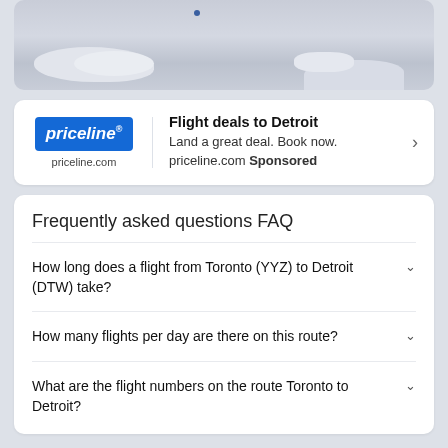[Figure (map): Partial map image showing a geographic region with light gray landmass and white cloud/land features at the bottom]
[Figure (screenshot): Priceline advertisement card with blue logo, 'Flight deals to Detroit' headline, 'Land a great deal. Book now.' subtext, priceline.com Sponsored label, and right arrow]
Frequently asked questions FAQ
How long does a flight from Toronto (YYZ) to Detroit (DTW) take?
How many flights per day are there on this route?
What are the flight numbers on the route Toronto to Detroit?